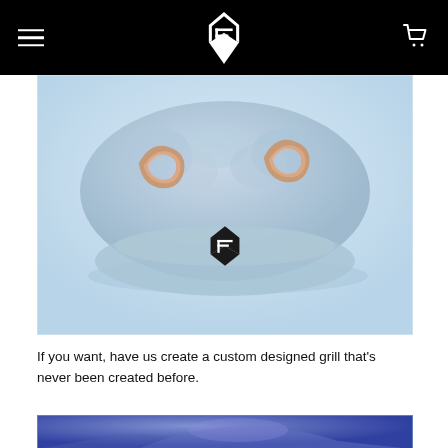Navigation header with logo and cart icon
[Figure (photo): Close-up photo of a light blue dental grill mold/model with rose gold rings on it, placed on a light blue background. A black diamond-shaped logo watermark is visible in the center of the image.]
If you want, have us create a custom designed grill that's never been created before.
[Figure (photo): Close-up photo of a purple/blue gloved hand holding a dental impression or grill, dark background.]